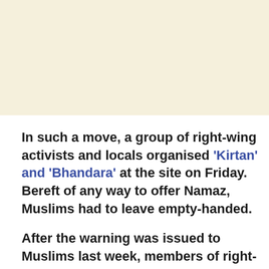[Figure (other): Cream/beige colored background area at the top of the page, likely an image placeholder]
In such a move, a group of right-wing activists and locals organised ‘Kirtan’ and ‘Bhandara’ at the site on Friday. Bereft of any way to offer Namaz, Muslims had to leave empty-handed.
After the warning was issued to Muslims last week, members of right-wing outfits had reached the objected